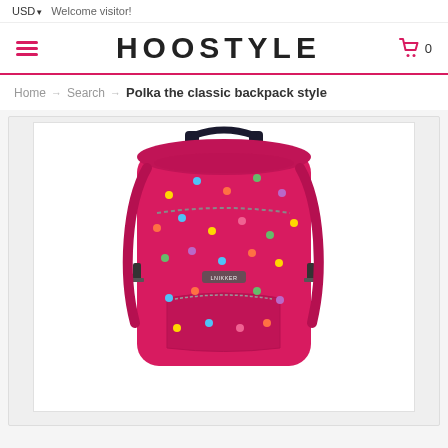USD  Welcome visitor!
HOOSTYLE
0
Home → Search → Polka the classic backpack style
[Figure (photo): Red polka dot backpack (LNIKKER brand) with colorful dot print, two shoulder straps, top handle, multiple compartments, shown against white background]